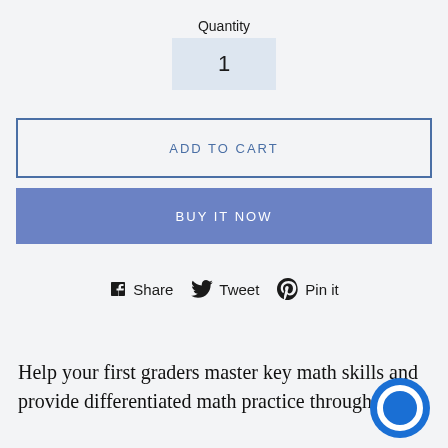Quantity
1
ADD TO CART
BUY IT NOW
Share  Tweet  Pin it
Help your first graders master key math skills and provide differentiated math practice through fun,